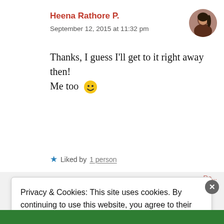Heena Rathore P.
September 12, 2015 at 11:32 pm
Thanks, I guess I'll get to it right away then!
Me too 🙂
★ Liked by 1 person
Privacy & Cookies: This site uses cookies. By continuing to use this website, you agree to their use. To find out more, including how to control cookies, see here: Cookie Policy
Close and accept